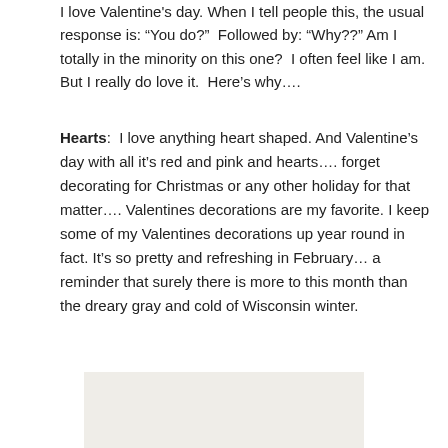I love Valentine’s day. When I tell people this, the usual response is: “You do?”  Followed by: “Why??” Am I totally in the minority on this one?  I often feel like I am. But I really do love it.  Here’s why….
Hearts:  I love anything heart shaped. And Valentine’s day with all it’s red and pink and hearts…. forget decorating for Christmas or any other holiday for that matter…. Valentines decorations are my favorite. I keep some of my Valentines decorations up year round in fact. It’s so pretty and refreshing in February… a reminder that surely there is more to this month than the dreary gray and cold of Wisconsin winter.
[Figure (photo): A light beige/cream colored image placeholder, likely a photo of Valentine decorations.]